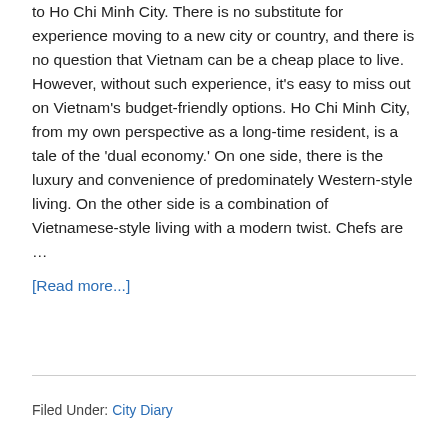to Ho Chi Minh City. There is no substitute for experience moving to a new city or country, and there is no question that Vietnam can be a cheap place to live. However, without such experience, it's easy to miss out on Vietnam's budget-friendly options. Ho Chi Minh City, from my own perspective as a long-time resident, is a tale of the 'dual economy.' On one side, there is the luxury and convenience of predominately Western-style living. On the other side is a combination of Vietnamese-style living with a modern twist. Chefs are … [Read more...]
Filed Under: City Diary